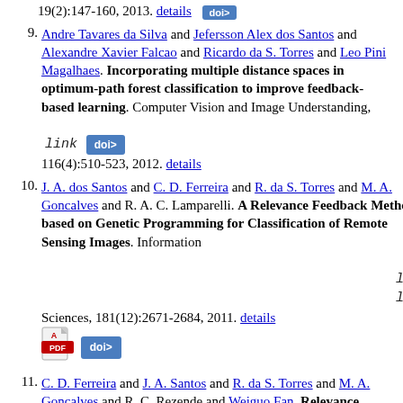19(2):147-160, 2013. details [doi button]
9. Andre Tavares da Silva and Jefersson Alex dos Santos and Alexandre Xavier Falcao and Ricardo da S. Torres and Leo Pini Magalhaes. Incorporating multiple distance spaces in optimum-path forest classification to improve feedback-based learning. Computer Vision and Image Understanding, 116(4):510-523, 2012. details [link] [doi>]
10. J. A. dos Santos and C. D. Ferreira and R. da S. Torres and M. A. Goncalves and R. A. C. Lamparelli. A Relevance Feedback Method based on Genetic Programming for Classification of Remote Sensing Images. Information Sciences, 181(12):2671-2684, 2011. details [link] [link] [PDF icon] [doi>]
11. C. D. Ferreira and J. A. Santos and R. da S. Torres and M. A. Goncalves and R. C. Rezende and Weiguo Fan. Relevance feedback based on genetic programming for image